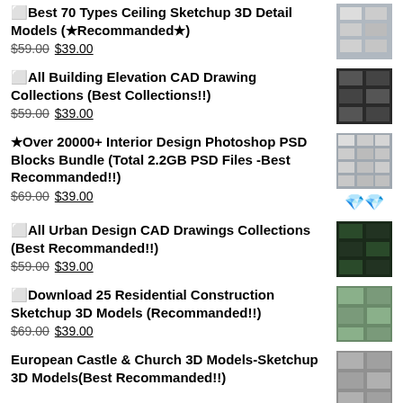Best 70 Types Ceiling Sketchup 3D Detail Models (★Recommanded★) $59.00 $39.00
All Building Elevation CAD Drawing Collections (Best Collections!!) $59.00 $39.00
★Over 20000+ Interior Design Photoshop PSD Blocks Bundle (Total 2.2GB PSD Files -Best Recommanded!!) $69.00 $39.00
All Urban Design CAD Drawings Collections (Best Recommanded!!) $59.00 $39.00
Download 25 Residential Construction Sketchup 3D Models (Recommanded!!) $69.00 $39.00
European Castle & Church 3D Models-Sketchup 3D Models(Best Recommanded!!)